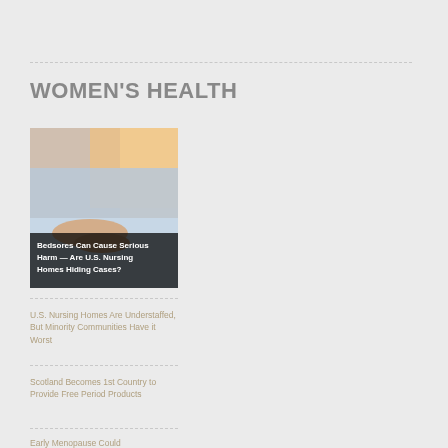WOMEN'S HEALTH
[Figure (photo): A person lying in a hospital bed, hands resting on light blue bed covering, warm sunlight in background. Overlay text: Bedsores Can Cause Serious Harm — Are U.S. Nursing Homes Hiding Cases?]
U.S. Nursing Homes Are Understaffed, But Minority Communities Have it Worst
Scotland Becomes 1st Country to Provide Free Period Products
Early Menopause Could